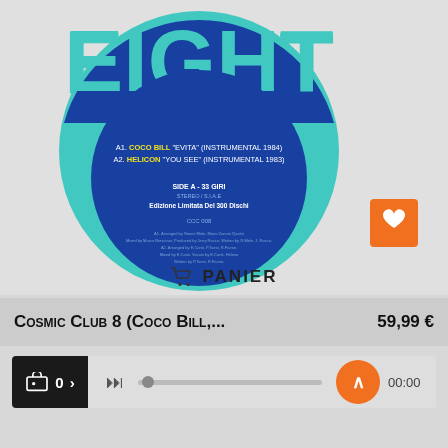[Figure (illustration): Vinyl record label for 'Cosmic Club Eight' showing a teal circle with 'EIGHT' in large text, track listings A1 and A2, blue inner circle with side/edition info and credits, shopping cart PANIER button below]
A1. COCO BILL "EVITA" (INSTRUMENTAL 1984)
A2. HELICON "YOU SEE" (INSTRUMENTAL 1983)
SIDE A - 33 GIRI
STEREO / S.I.A.E
Edizione Limitata Del 300 Dischi
CCC 008
PANIER
Cosmic Club 8 (Coco Bill,...
59,99 €
00:00